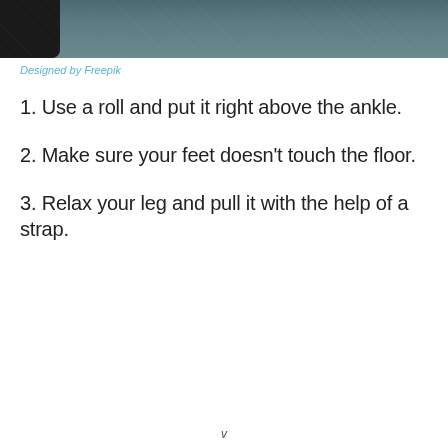[Figure (photo): Partial photograph showing a dark object against a teal/grey textured background, likely a foam roll or exercise equipment near a leg/ankle.]
Designed by Freepik
1. Use a roll and put it right above the ankle.
2. Make sure your feet doesn't touch the floor.
3. Relax your leg and pull it with the help of a strap.
v